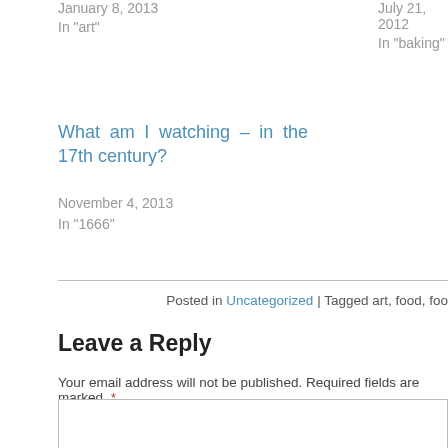January 8, 2013
In "art"
July 21, 2012
In "baking"
What am I watching – in the 17th century?
November 4, 2013
In "1666"
Posted in Uncategorized | Tagged art, food, foo…
Leave a Reply
Your email address will not be published. Required fields are marked *
Name *